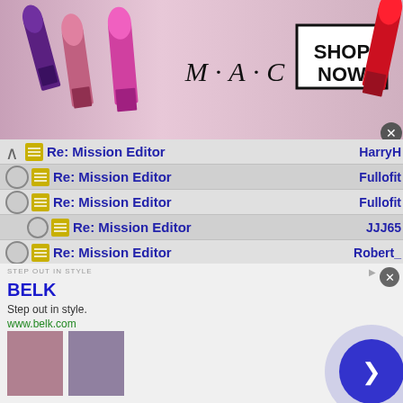[Figure (screenshot): MAC cosmetics advertisement banner with lipsticks, MAC logo, and SHOP NOW button]
Re: Mission Editor — HarryH
Re: Mission Editor — Fullofit
Re: Mission Editor — Fullofit
Re: Mission Editor — JJJ65
Re: Mission Editor — Robert_
Re: Mission Editor — Dirk98
Re: Mission Editor — JJJ65
Re: Mission Editor — Dirk98
Re: Mission Editor — JJJ65
Re: Mission Editor — Space_
[Figure (screenshot): BELK advertisement — Step out in style. www.belk.com with fashion images and navigation arrow]